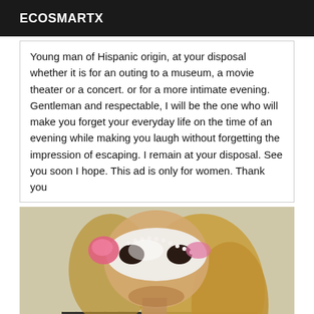ECOSMARTX
Young man of Hispanic origin, at your disposal whether it is for an outing to a museum, a movie theater or a concert. or for a more intimate evening. Gentleman and respectable, I will be the one who will make you forget your everyday life on the time of an evening while making you laugh without forgetting the impression of escaping. I remain at your disposal. See you soon I hope. This ad is only for women. Thank you
[Figure (photo): Person wearing a decorative masquerade mask with pink flowers and pearls, with blonde hair, wearing a black fishnet top. The photo background is light/cream colored.]